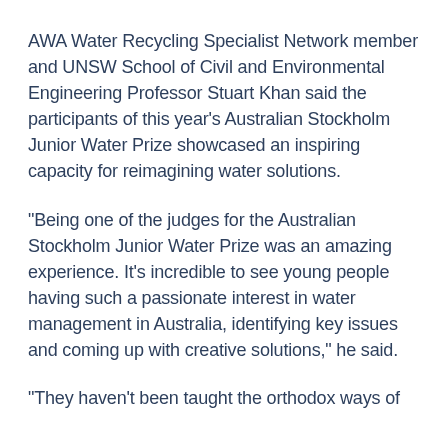AWA Water Recycling Specialist Network member and UNSW School of Civil and Environmental Engineering Professor Stuart Khan said the participants of this year's Australian Stockholm Junior Water Prize showcased an inspiring capacity for reimagining water solutions.
“Being one of the judges for the Australian Stockholm Junior Water Prize was an amazing experience. It’s incredible to see young people having such a passionate interest in water management in Australia, identifying key issues and coming up with creative solutions,” he said.
“They haven’t been taught the orthodox ways of